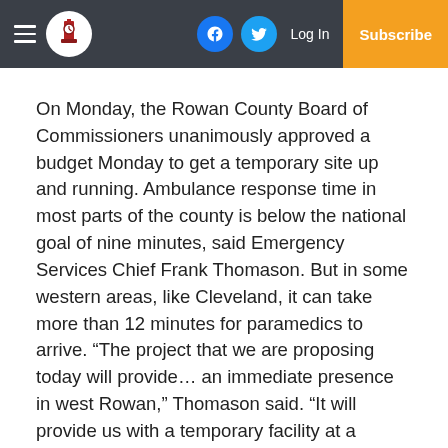Navigation bar with hamburger menu, logo, Facebook icon, Twitter icon, Log In, Subscribe
On Monday, the Rowan County Board of Commissioners unanimously approved a budget Monday to get a temporary site up and running. Ambulance response time in most parts of the county is below the national goal of nine minutes, said Emergency Services Chief Frank Thomason. But in some western areas, like Cleveland, it can take more than 12 minutes for paramedics to arrive. “The project that we are proposing today will provide… an immediate presence in west Rowan,” Thomason said. “It will provide us with a temporary facility at a location in the town of Cleveland, adjacent to the existing community fire station.” A modular structure would be built on that land,